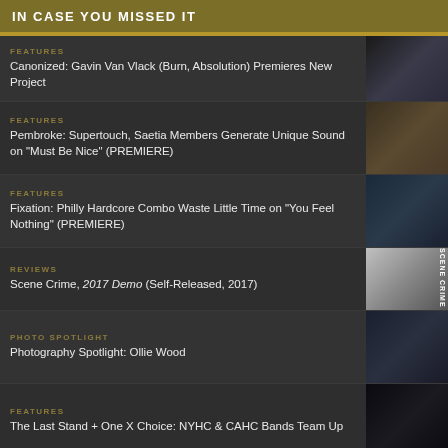IN CASE YOU MISSED IT
Canonized: Gavin Van Vlack (Burn, Absolution) Premieres New Project
Pembroke: Supertouch, Saetia Members Generate Unique Sound on "Must Be Nice" (PREMIERE)
Fixation: Philly Hardcore Combo Waste Little Time on "You Feel Nothing" (PREMIERE)
Scene Crime, 2017 Demo (Self-Released, 2017)
Photography Spotlight: Ollie Wood
The Last Stand + One X Choice: NYHC & CAHC Bands Team Up